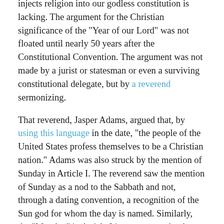injects religion into our godless constitution is lacking. The argument for the Christian significance of the "Year of our Lord" was not floated until nearly 50 years after the Constitutional Convention. The argument was not made by a jurist or statesman or even a surviving constitutional delegate, but by a reverend sermonizing.

That reverend, Jasper Adams, argued that, by using this language in the date, "the people of the United States profess themselves to be a Christian nation." Adams was also struck by the mention of Sunday in Article I. The reverend saw the mention of Sunday as a nod to the Sabbath and not, through a dating convention, a recognition of the Sun god for whom the day is named. Similarly, the "Monday" in Article I is never argued to be evidence of moon worship or paganism. Nor has it ever been argued that the Twelfth Amendment honors the god of war, Mars, because it includes the month named after him; or that the